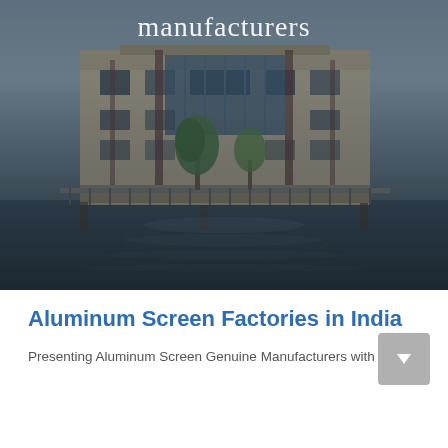[Figure (photo): Photograph of a modern multi-story building complex with glass facades, surrounded by trees and a reflective water feature in the foreground. The image is overlaid with the word 'manufacturers' in white serif text near the top.]
Aluminum Screen Factories in India
Presenting Aluminum Screen Genuine Manufacturers with